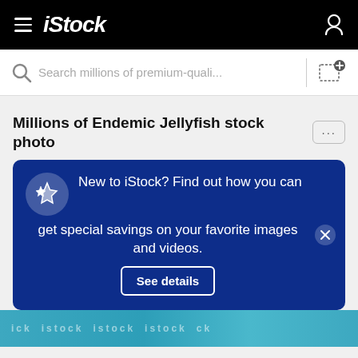iStock
Search millions of premium-quali...
Millions of Endemic Jellyfish stock photo
New to iStock? Find out how you can get special savings on your favorite images and videos. See details
[Figure (photo): Jellyfish underwater image strip with iStock watermark]
$12 | 1 credit
Continue with purchase